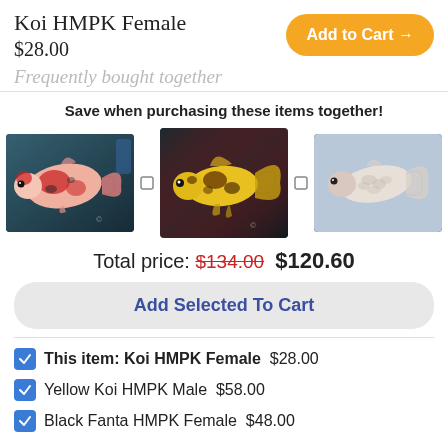Koi HMPK Female
$28.00
Add to Cart →
Frequently bought together
Save when purchasing these items together!
[Figure (photo): Three betta fish photos side by side: first a pink/red Koi HMPK Female, second a yellow Koi HMPK Male, third a pale/white HMPK Female]
Total price: $134.00 $120.60
Add Selected To Cart
This item: Koi HMPK Female  $28.00
Yellow Koi HMPK Male  $58.00
Black Fanta HMPK Female  $48.00